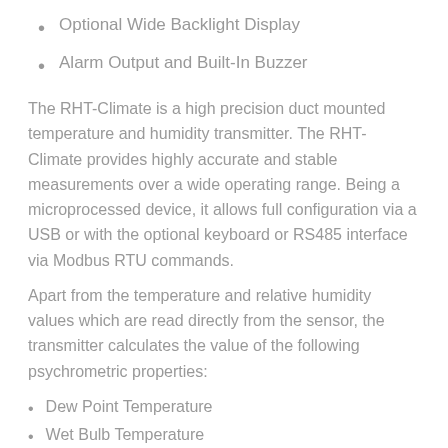Optional Wide Backlight Display
Alarm Output and Built-In Buzzer
The RHT-Climate is a high precision duct mounted temperature and humidity transmitter. The RHT-Climate provides highly accurate and stable measurements over a wide operating range. Being a microprocessed device, it allows full configuration via a USB or with the optional keyboard or RS485 interface via Modbus RTU commands.
Apart from the temperature and relative humidity values which are read directly from the sensor, the transmitter calculates the value of the following psychrometric properties:
Dew Point Temperature
Wet Bulb Temperature
Absolute Humidity
Frost Point Temperature